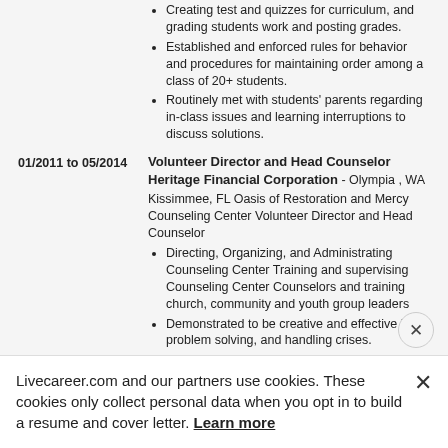Creating test and quizzes for curriculum, and grading students work and posting grades.
Established and enforced rules for behavior and procedures for maintaining order among a class of 20+ students.
Routinely met with students' parents regarding in-class issues and learning interruptions to discuss solutions.
01/2011 to 05/2014
Volunteer Director and Head Counselor
Heritage Financial Corporation - Olympia , WA
Kissimmee, FL Oasis of Restoration and Mercy Counseling Center Volunteer Director and Head Counselor
Directing, Organizing, and Administrating Counseling Center Training and supervising Counseling Center Counselors and training church, community and youth group leaders
Demonstrated to be creative and effective in problem solving, and handling crises.
Interviewed and assessed new...
Livecareer.com and our partners use cookies. These cookies only collect personal data when you opt in to build a resume and cover letter. Learn more